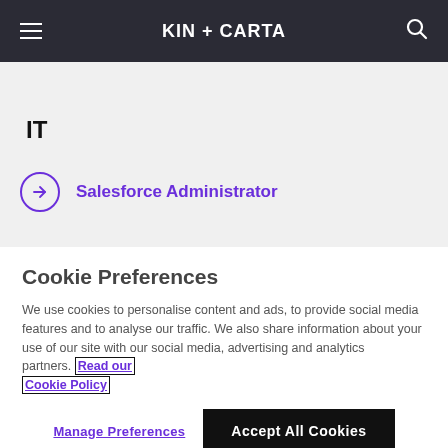KIN + CARTA
IT
Salesforce Administrator
Cookie Preferences
We use cookies to personalise content and ads, to provide social media features and to analyse our traffic. We also share information about your use of our site with our social media, advertising and analytics partners. Read our Cookie Policy
Manage Preferences
Accept All Cookies